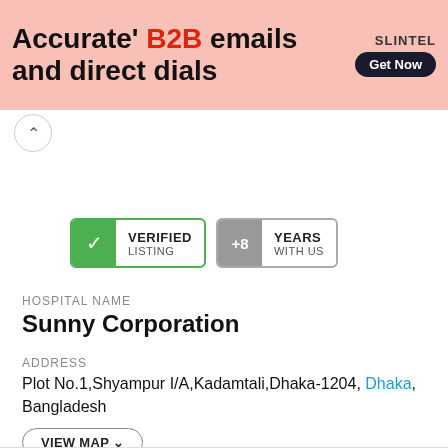[Figure (screenshot): Advertisement banner for Slintel B2B emails and direct dials with pink background, showing bold text and a Get Now button]
VERIFIED LISTING
+8 YEARS WITH US
HOSPITAL NAME
Sunny Corporation
ADDRESS
Plot No.1,Shyampur I/A,Kadamtali,Dhaka-1204, Dhaka, Bangladesh
VIEW MAP
PHONE NUMBER
8801618249626
WEBSITE
http://www.sunnycorpbd.com